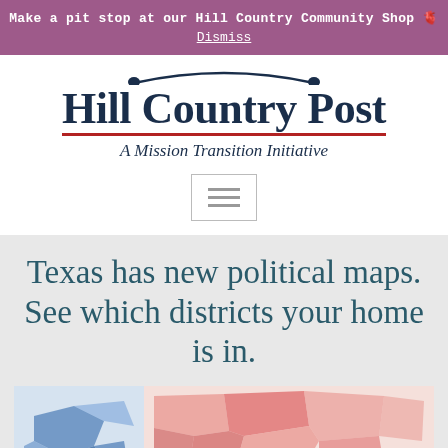Make a pit stop at our Hill Country Community Shop 🫀
Dismiss
[Figure (logo): Hill Country Post logo with arched decorative element at top, bold dark navy serif text 'Hill Country Post' with red underline, italic subtitle 'A Mission Transition Initiative']
[Figure (other): Hamburger menu icon (three horizontal lines) inside a rectangular border]
Texas has new political maps. See which districts your home is in.
[Figure (map): Partial maps showing Texas political district maps — left side shows a blue-toned district map, right side shows a salmon/pink-colored district map with various county/district outlines visible]